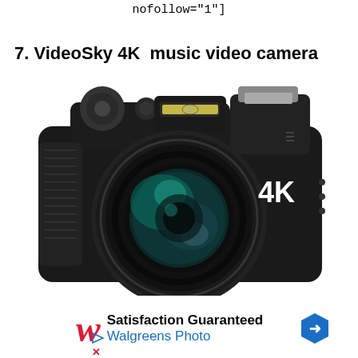nofollow="1"]
7. VideoSky 4K  music video camera
[Figure (photo): A black 4K digital camera with a large lens (58mm), hot shoe mount, built-in flash/spirit level, and '4K' branding on the body, shown from the front-left angle.]
[Figure (other): Walgreens Photo advertisement banner with 'W' logo in red italic, 'Satisfaction Guaranteed' in bold, 'Walgreens Photo' in blue, and a blue hexagonal arrow icon. Below are a blue triangle play icon and a red X icon.]